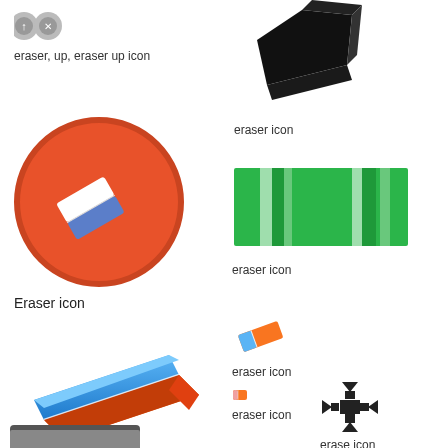[Figure (illustration): Eraser up icon - flat gray icon with up arrow]
eraser, up, eraser up icon
[Figure (illustration): Black eraser icon - 3D style black eraser silhouette]
eraser icon
[Figure (illustration): Eraser icon on orange circle - white and blue eraser on red/orange circle background]
Eraser icon
[Figure (illustration): Green striped eraser icon - rectangular green eraser with white stripes]
eraser icon
[Figure (illustration): 3D realistic eraser - orange and blue eraser tilted]
Eraser icon
[Figure (illustration): Small orange and blue eraser icon]
eraser icon
[Figure (illustration): Tiny small eraser icon]
eraser icon
[Figure (illustration): Move/erase cross arrow icon - four directional arrows]
erase icon
[Figure (illustration): Partial eraser/tablet icon bottom left]
[Figure (illustration): Partial image bottom right]